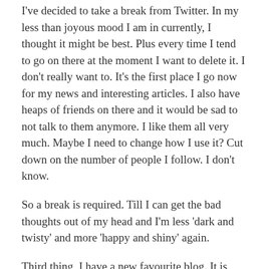I've decided to take a break from Twitter. In my less than joyous mood I am in currently, I thought it might be best. Plus every time I tend to go on there at the moment I want to delete it. I don't really want to. It's the first place I go now for my news and interesting articles. I also have heaps of friends on there and it would be sad to not talk to them anymore. I like them all very much. Maybe I need to change how I use it? Cut down on the number of people I follow. I don't know.
So a break is required. Till I can get the bad thoughts out of my head and I'm less 'dark and twisty' and more 'happy and shiny' again.
Third thing, I have a new favourite blog. It is @Fatheffalump with her blog of the same name. She kind of inspires me. I love reading her posts because